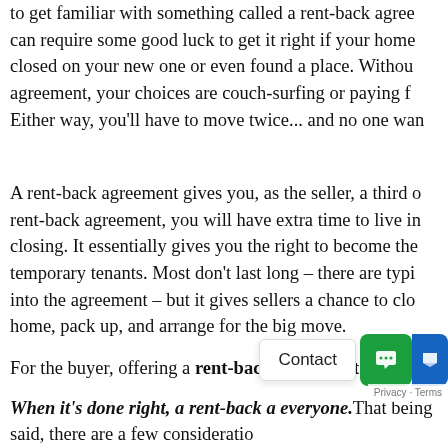to get familiar with something called a rent-back agree can require some good luck to get it right if your home closed on your new one or even found a place. Withou agreement, your choices are couch-surfing or paying f Either way, you'll have to move twice... and no one wan
A rent-back agreement gives you, as the seller, a third o rent-back agreement, you will have extra time to live in closing. It essentially gives you the right to become the temporary tenants. Most don't last long – there are typi into the agreement – but it gives sellers a chance to clo home, pack up, and arrange for the big move.
For the buyer, offering a rent-back agreement can als serious benefits. For example, in a competitive market, on move-out dates can give you, as the buyer, an edge seller will pay can help you recoup those hefty closing
When it's done right, a rent-back a everyone. That being said, there are a few consideratio